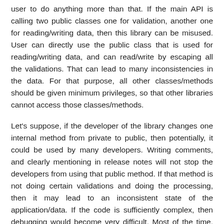user to do anything more than that. If the main API is calling two public classes one for validation, another one for reading/writing data, then this library can be misused. User can directly use the public class that is used for reading/writing data, and can read/write by escaping all the validations. That can lead to many inconsistencies in the data. For that purpose, all other classes/methods should be given minimum privileges, so that other libraries cannot access those classes/methods.
Let's suppose, if the developer of the library changes one internal method from private to public, then potentially, it could be used by many developers. Writing comments, and clearly mentioning in release notes will not stop the developers from using that public method. If that method is not doing certain validations and doing the processing, then it may lead to an inconsistent state of the application/data. If the code is sufficiently complex, then debugging would become very difficult. Most of the time, developers debug in such a way that, there was some problem in their code, and they don't try to debug the underlying libraries. If the inconsistency was caused by the library, then user would